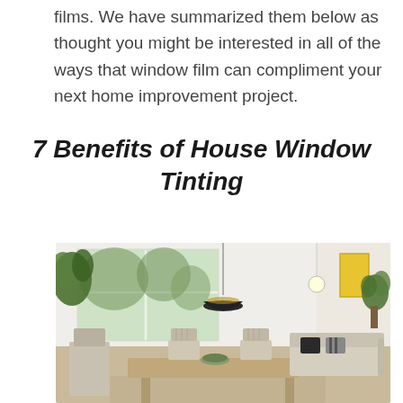films. We have summarized them below as thought you might be interested in all of the ways that window film can compliment your next home improvement project.
7 Benefits of House Window Tinting
[Figure (photo): Interior of a bright modern living/dining room with natural light coming through large windows, a pendant lamp, dining table with chairs, sofa with pillows, indoor plants, and artwork on the wall.]